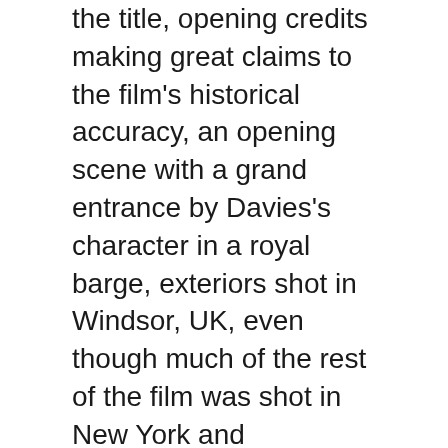the title, opening credits making great claims to the film's historical accuracy, an opening scene with a grand entrance by Davies's character in a royal barge, exteriors shot in Windsor, UK, even though much of the rest of the film was shot in New York and Connecticut, followed by an advertising campaign on the most gigantic of scales, backed up with all the critical fire-power that a newspaper magnate could muster, which was quite a bit. Hearst even had two pieces of music commissioned for the movie's premiere, including The Marion Davies March.
Citizen Kane didn't lampoon the relationship between Hearst and Davies directly, but its portrayal of an ageing media magnate